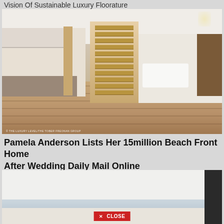Vision Of Sustainable Luxury Floorature
[Figure (photo): Interior photo of a luxury open-plan home with hardwood floors, floating staircase, kitchen with bar stools on the left, white sofas on the right, wooden column and chandelier. Watermark: © THE LUXURY LEVEL/THE TOBER FREONAN GROUP]
Pamela Anderson Lists Her 15million Beach Front Home After Wedding Daily Mail Online
[Figure (photo): Interior photo of a modern white minimalist room with recessed lighting and a dark panel on the right edge. A red 'X CLOSE' button overlay is visible at the bottom center.]